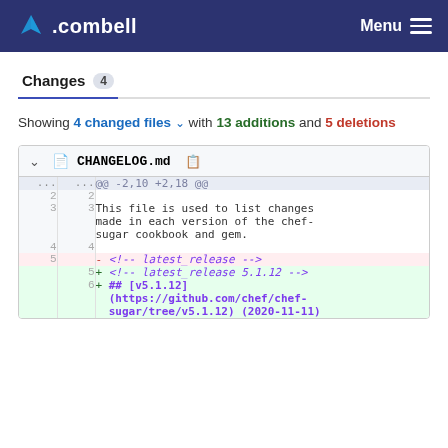.combell  Menu
Changes  4
Showing 4 changed files with 13 additions and 5 deletions
[Figure (screenshot): Diff view of CHANGELOG.md showing lines 2-6: This file is used to list changes made in each version of the chef-sugar cookbook and gem. A deletion of '<!-- latest_release -->' and additions of '<!-- latest_release 5.1.12 -->' and '## [v5.1.12](https://github.com/chef/chef-sugar/tree/v5.1.12) (2020-11-11)']